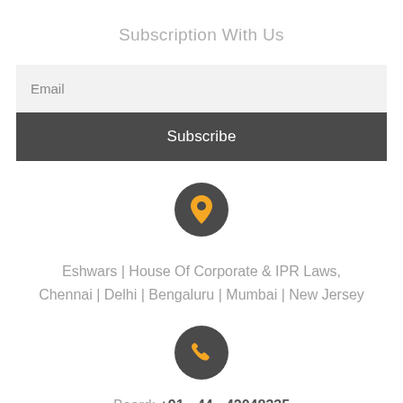Subscription With Us
Email
Subscribe
[Figure (illustration): Dark gray circle icon with a yellow map pin/location marker symbol]
Eshwars | House Of Corporate & IPR Laws, Chennai | Delhi | Bengaluru | Mumbai | New Jersey
[Figure (illustration): Dark gray circle icon with a yellow telephone/phone symbol]
Board: +91 - 44 - 42048335